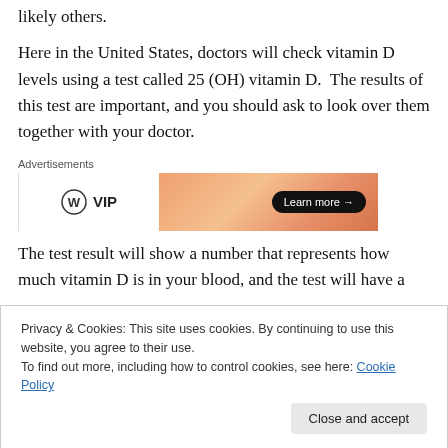likely others.
Here in the United States, doctors will check vitamin D levels using a test called 25 (OH) vitamin D.  The results of this test are important, and you should ask to look over them together with your doctor.
[Figure (other): WordPress VIP advertisement banner with logo on white left side and orange gradient right side with 'Learn more →' button. Labeled 'Advertisements' above.]
The test result will show a number that represents how much vitamin D is in your blood, and the test will have a
Privacy & Cookies: This site uses cookies. By continuing to use this website, you agree to their use. To find out more, including how to control cookies, see here: Cookie Policy
Some doctors will tell you that a number of 30, or even 20